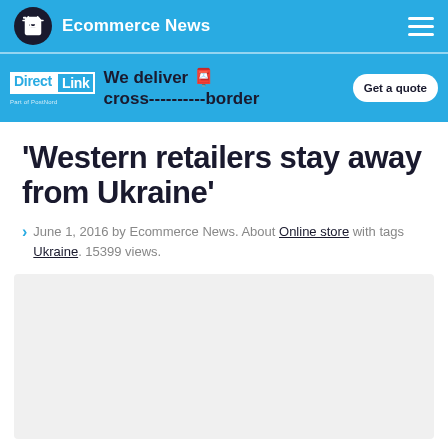Ecommerce News
[Figure (other): Direct Link advertisement banner: 'We deliver cross---------border. Get a quote']
'Western retailers stay away from Ukraine'
June 1, 2016 by Ecommerce News. About Online store with tags Ukraine. 15399 views.
[Figure (other): Article featured image placeholder (light gray box)]